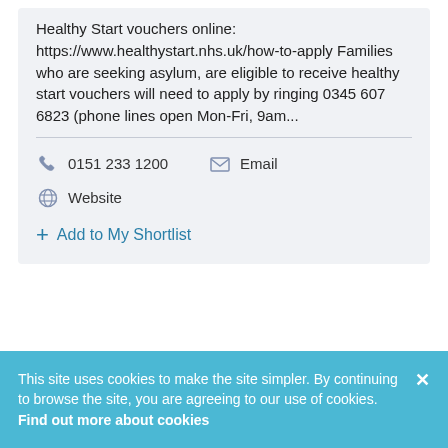Healthy Start vouchers online: https://www.healthystart.nhs.uk/how-to-apply Families who are seeking asylum, are eligible to receive healthy start vouchers will need to apply by ringing 0345 607 6823 (phone lines open Mon-Fri, 9am...
0151 233 1200
Email
Website
Add to My Shortlist
This site uses cookies to make the site simpler. By continuing to browse the site, you are agreeing to our use of cookies. Find out more about cookies